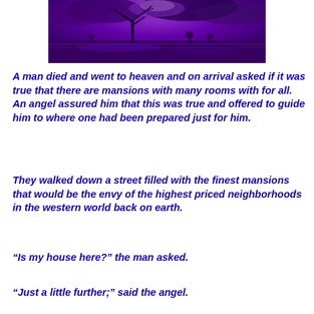[Figure (photo): A purple-toned landscape photo showing a lone tree silhouetted against a dramatic stormy purple sky with clouds, reflected in still water, with small distant trees on the horizon.]
A man died and went to heaven and on arrival asked if it was true that there are mansions with many rooms with for all. An angel assured him that this was true and offered to guide him to where one had been prepared just for him.
They walked down a street filled with the finest mansions that would be the envy of the highest priced neighborhoods in the western world back on earth.
“Is my house here?” the man asked.
“Just a little further;” said the angel.